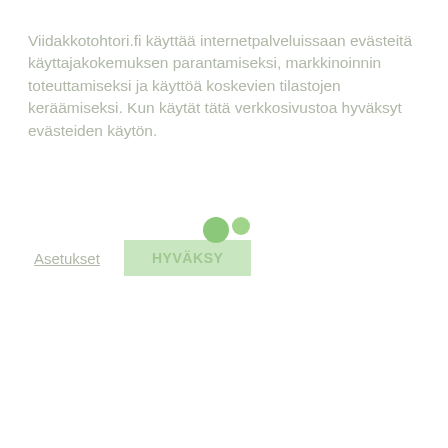Viidakkotohtori.fi käyttää internetpalveluissaan evästeitä käyttajakokemuksen parantamiseksi, markkinoinnin toteuttamiseksi ja käyttöä koskevien tilastojen keräämiseksi. Kun käytät tätä verkkosivustoa hyväksyt evästeiden käytön.
Asetukset | HYVÄKSY
[Figure (other): Two green loading indicator dots, one larger and one smaller, suggesting a page loading animation.]